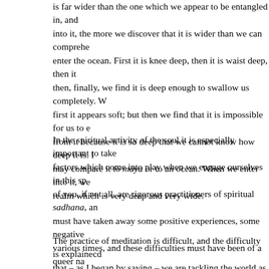is far wider than the one which we appear to be entangled in, and into it, the more we discover that it is wider than we can comprehend enter the ocean. First it is knee deep, then it is waist deep, then it then, finally, we find it is deep enough to swallow us completely. W first it appears soft; but then we find that it is impossible for us to from it because it is so deep that we cannot know how deep it is. may compare it to maya or to an ocean. When we enter into it, we realm which is very deep and very wide.
In the spiritual activity of the soul it is especially important to take factors which come into play when we engage ourselves in this sp of you, if not all, are rigorous practitioners of spiritual sadhana, and must have taken away some positive experiences, some negative various times, and these difficulties must have been of a queer na that you have not been able to understand the causes. Some of y to a superior, to a Guru or to books, and, to some extent, you hav You have had a hint, but not much. Because your being is very de deep from the source in order that you may derive enough streng shocks in your practice that may be given to you by the world.
The practice of meditation is difficult, and the difficulty is explained that – as I began by saying – we are tackling the world as a whole creation, and are face to face with an unknown complexity. Suppo